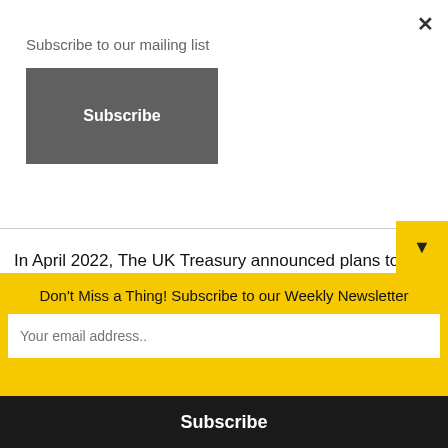Subscribe to our mailing list
Subscribe
In April 2022, The UK Treasury announced plans to make the country a global crypto hub. According to its website, the government will also make moves to see stablecoins recognized as a valid form of payment. This initiative, paired with hundreds of millions of people using crypto around the world, makes the United Kingdom a prime location for the next wave of industry innovation.
Don't Miss a Thing! Subscribe to our Weekly Newsletter
Your email address..
Subscribe